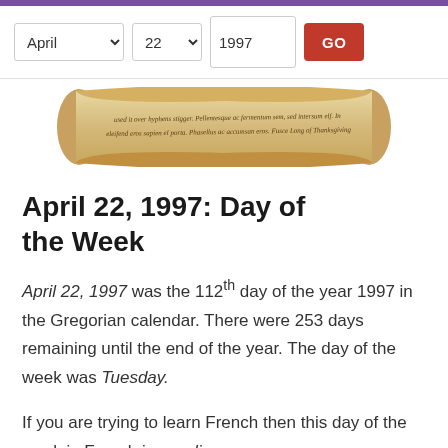[Figure (illustration): Decorative scroll/parchment image with handwritten-style text]
April 22, 1997: Day of the Week
April 22, 1997 was the 112th day of the year 1997 in the Gregorian calendar. There were 253 days remaining until the end of the year. The day of the week was Tuesday.
If you are trying to learn French then this day of the week in French is mardi